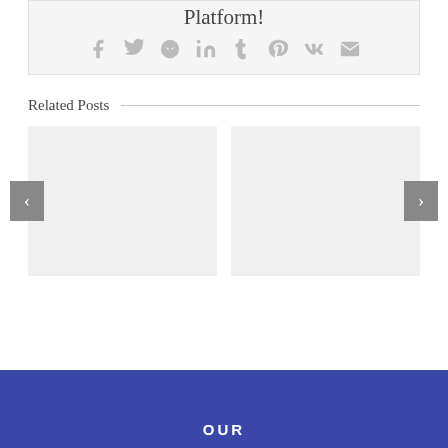Platform!
[Figure (infographic): Social sharing icons: Facebook, Twitter, Reddit, LinkedIn, Tumblr, Pinterest, Vk, Email]
Related Posts
[Figure (infographic): Two related post image placeholders with left and right navigation arrows]
OUR